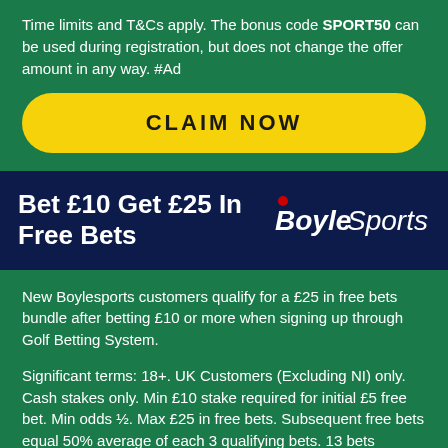Time limits and T&Cs apply. The bonus code SPORT50 can be used during registration, but does not change the offer amount in any way. #Ad
CLAIM NOW
Bet £10 Get £25 In Free Bets
[Figure (logo): BoyleSports logo in white italic text on dark blue background]
New Boylesports customers qualify for a £25 in free bets bundle after betting £10 or more when signing up through Golf Betting System.
Significant terms: 18+. UK Customers (Excluding NI) only. Cash stakes only. Min £10 stake required for initial £5 free bet. Min odds ½. Max £25 in free bets. Subsequent free bets equal 50% average of each 3 qualifying bets. 13 bets required to receive full £25 free bet. Qualifying bet must be placed within 30 days of opening account. Cashed out bets will not qualify towards your average stake. One free bet offer per customer, household or IP